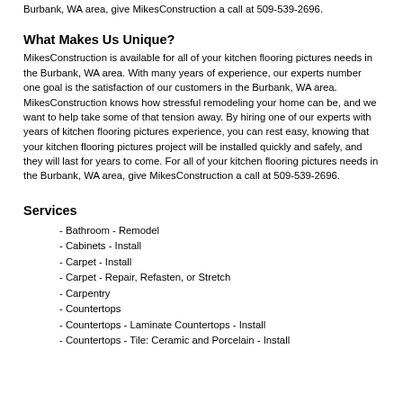Burbank, WA area, give MikesConstruction a call at 509-539-2696.
What Makes Us Unique?
MikesConstruction is available for all of your kitchen flooring pictures needs in the Burbank, WA area. With many years of experience, our experts number one goal is the satisfaction of our customers in the Burbank, WA area. MikesConstruction knows how stressful remodeling your home can be, and we want to help take some of that tension away. By hiring one of our experts with years of kitchen flooring pictures experience, you can rest easy, knowing that your kitchen flooring pictures project will be installed quickly and safely, and they will last for years to come. For all of your kitchen flooring pictures needs in the Burbank, WA area, give MikesConstruction a call at 509-539-2696.
Services
- Bathroom - Remodel
- Cabinets - Install
- Carpet - Install
- Carpet - Repair, Refasten, or Stretch
- Carpentry
- Countertops
- Countertops - Laminate Countertops - Install
- Countertops - Tile: Ceramic and Porcelain - Install